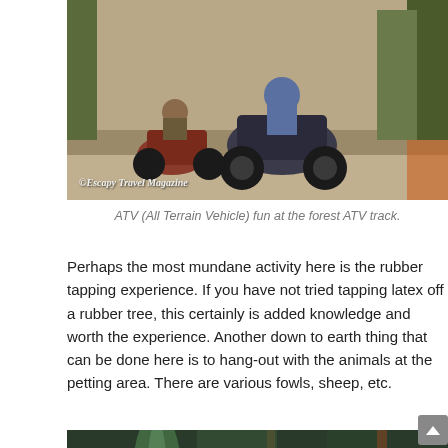[Figure (photo): ATV (All Terrain Vehicle) riders on a forest dirt track. Multiple ATVs visible, with riders. Copyright watermark reads ©Escapy Travel Magazine.]
ATV (All Terrain Vehicle) fun at the forest ATV track.
Perhaps the most mundane activity here is the rubber tapping experience. If you have not tried tapping latex off a rubber tree, this certainly is added knowledge and worth the experience. Another down to earth thing that can be done here is to hang-out with the animals at the petting area. There are various fowls, sheep, etc.
[Figure (photo): Blurred close-up photo of what appears to be rubber tapping equipment or tools in a forest setting.]